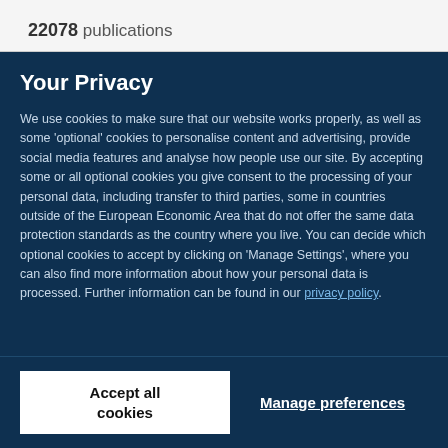22078 publications
Your Privacy
We use cookies to make sure that our website works properly, as well as some ‘optional’ cookies to personalise content and advertising, provide social media features and analyse how people use our site. By accepting some or all optional cookies you give consent to the processing of your personal data, including transfer to third parties, some in countries outside of the European Economic Area that do not offer the same data protection standards as the country where you live. You can decide which optional cookies to accept by clicking on ‘Manage Settings’, where you can also find more information about how your personal data is processed. Further information can be found in our privacy policy.
Accept all cookies
Manage preferences